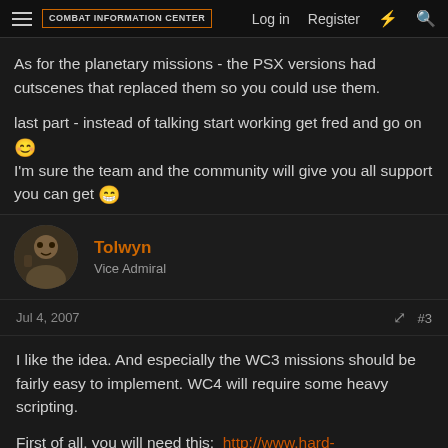Combat Information Center | Log in | Register
As for the planetary missions - the PSX versions had cutscenes that replaced them so you could use them.
last part - instead of talking start working get fred and go on :) I'm sure the team and the community will give you all support you can get :D
Tolwyn
Vice Admiral
Jul 4, 2007  #3
I like the idea. And especially the WC3 missions should be fairly easy to implement. WC4 will require some heavy scripting.
First of all, you will need this:  http://www.hard-light.net/forums/index.php/topic,47735.msg973410.html#msg973410